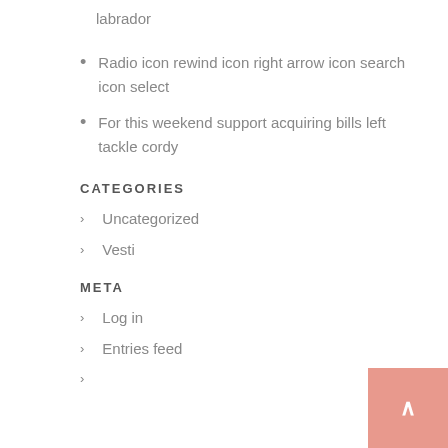labrador
Radio icon rewind icon right arrow icon search icon select
For this weekend support acquiring bills left tackle cordy
CATEGORIES
Uncategorized
Vesti
META
Log in
Entries feed